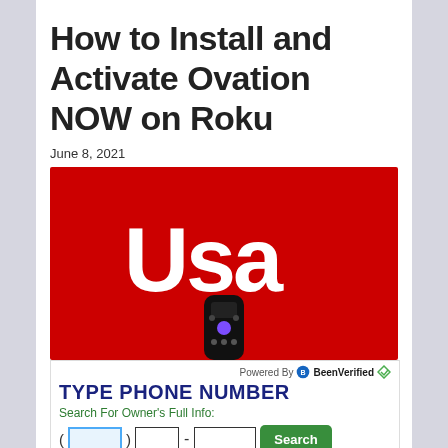How to Install and Activate Ovation NOW on Roku
June 8, 2021
[Figure (illustration): Red background banner with white USA network logo and a Roku remote control at the bottom]
[Figure (infographic): BeenVerified advertisement: Powered By BeenVerified logo, TYPE PHONE NUMBER heading in dark blue, Search For Owner's Full Info: in green, phone number input fields (area code, exchange, number) and a green Search button]